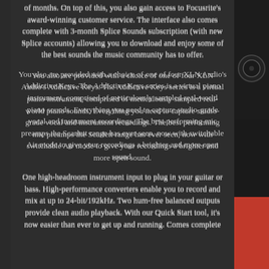of months. On top of this, you also gain access to Focusrite's award-winning customer service. The interface also comes complete with 3-month Splice Sounds subscription (with new Splice accounts) allowing you to download and enjoy some of the best sounds the music community has to offer.
You also are provided with a choice of one of four XLN Audio's Addictive Keys. The Addictive Keys series is a virtual piano instrument, comprised of meticulously sampled real-world piano sounds. Everything you need to capture studio-grade vocal and instrument recordings. The best performing mic preamps the Scarlett range has ever seen, now with switchable Air mode to give your recordings a brighter and more open sound.
One high-headroom instrument input to plug in your guitar or bass. High-performance converters enable you to record and mix at up to 24-bit/192kHz. Two hum-free balanced outputs provide clean audio playback. With our Quick Start tool, it's now easier than ever to get up and running. Comes complete
[Figure (photo): Right side strip showing a dark audio interface with a knob visible in the upper portion and a red section in the lower portion]